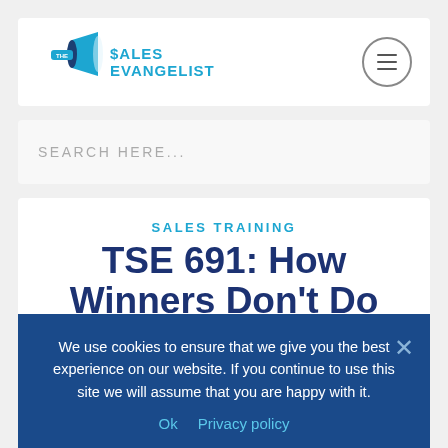$ALES EVANGELIST
SEARCH HERE...
SALES TRAINING
TSE 691: How Winners Don't Do Different Things, They Do Things Differently
We use cookies to ensure that we give you the best experience on our website. If you continue to use this site we will assume that you are happy with it.
Ok   Privacy policy